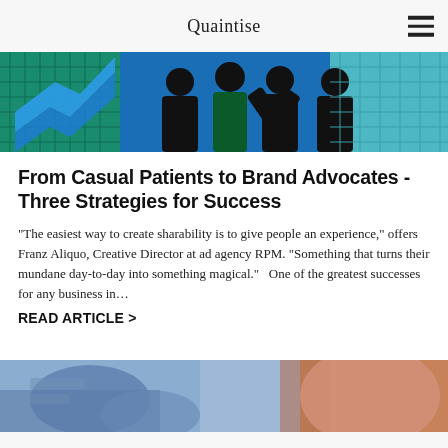Quaintise
[Figure (photo): Hero image showing silhouettes of business people against a blue and teal graphic background with geometric shapes and a rising arrow/chart motif]
From Casual Patients to Brand Advocates - Three Strategies for Success
“The easiest way to create sharability is to give people an experience,” offers Franz Aliquo, Creative Director at ad agency RPM. “Something that turns their mundane day-to-day into something magical.”   One of the greatest successes for any business in…
READ ARTICLE >
[Figure (photo): Bottom partial image showing a blurred close-up with blue and orange/skin-tone colors, appears to be a medical or personal care context]